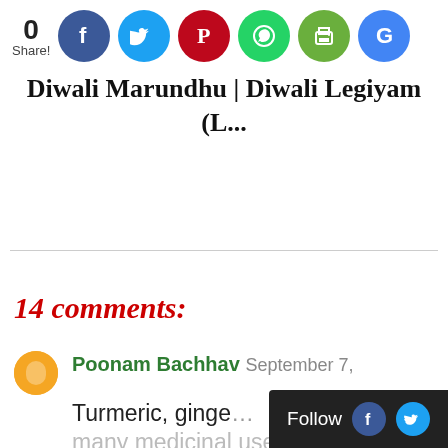[Figure (infographic): Social share bar with count 0 and icons for Facebook, Twitter, Pinterest, WhatsApp, Print, Google]
Diwali Marundhu | Diwali Legiyam (L...
14 comments:
Poonam Bachhav September 7,
Turmeric, ginger many medicinal uses...